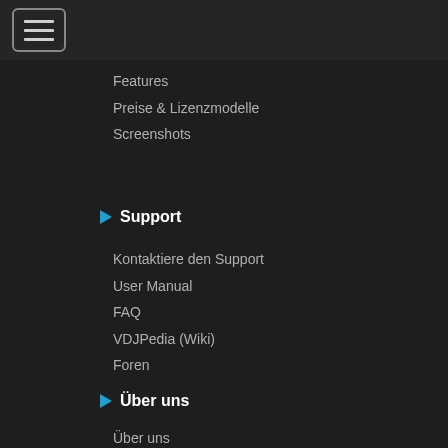[Figure (screenshot): Dark navigation menu UI with hamburger icon button at top left]
Features
Preise & Lizenzmodelle
Screenshots
Support
Kontaktiere den Support
User Manual
FAQ
VDJPedia (Wiki)
Foren
Über uns
Über uns
contact us